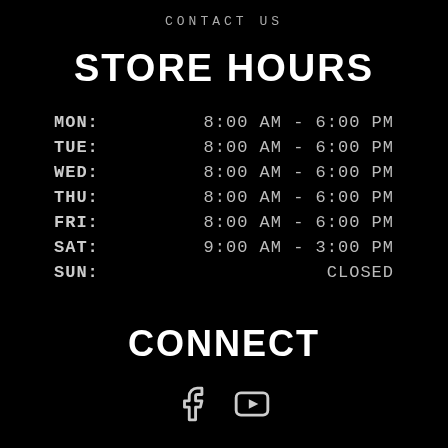CONTACT US
STORE HOURS
| Day | Hours |
| --- | --- |
| MON: | 8:00 AM - 6:00 PM |
| TUE: | 8:00 AM - 6:00 PM |
| WED: | 8:00 AM - 6:00 PM |
| THU: | 8:00 AM - 6:00 PM |
| FRI: | 8:00 AM - 6:00 PM |
| SAT: | 9:00 AM - 3:00 PM |
| SUN: | CLOSED |
CONNECT
[Figure (other): Facebook and YouTube social media icons]